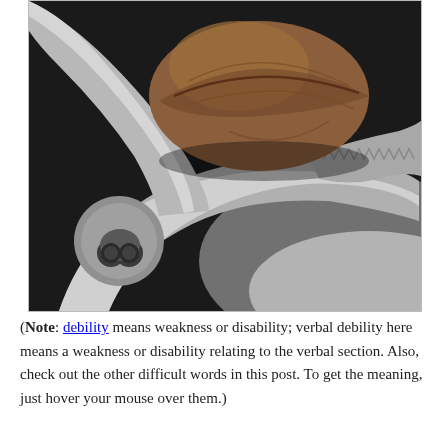[Figure (photo): A walnut being gripped tightly by a large metal adjustable wrench/pliers, photographed against a light background. The metallic tool dominates the lower portion of the image with serrated teeth visible.]
(Note: debility means weakness or disability; verbal debility here means a weakness or disability relating to the verbal section. Also, check out the other difficult words in this post. To get the meaning, just hover your mouse over them.)